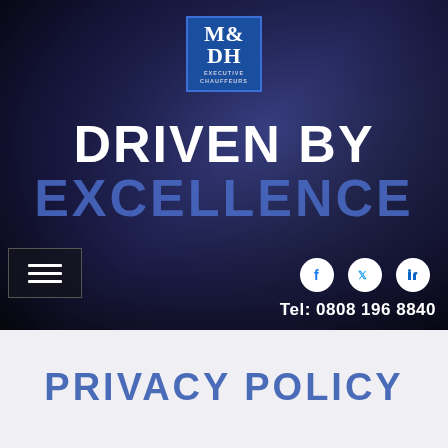[Figure (photo): Dark hero banner with chauffeur/luxury car imagery, M&D Executive Chauffeurs logo, tagline 'DRIVEN BY EXCELLENCE', hamburger menu, social icons, and phone number]
PRIVACY POLICY